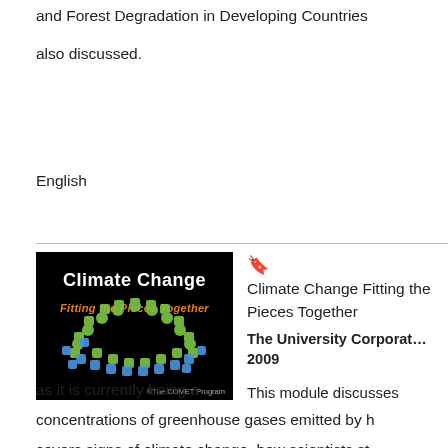and Forest Degradation in Developing Countries also discussed.
English
[Figure (illustration): Book cover for 'Climate Change: Fitting the Pieces Together' by The COMET Program, black background with colorful puzzle pieces in green and blue arranged in a dome shape.]
Climate Change Fitting the Pieces Together The University Corporation 2009 This module discusses as it is currently being a concentrations of greenhouse gases emitted by covers signs of climate change, how scientists s